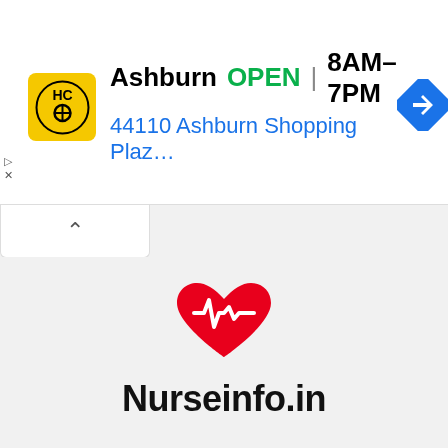[Figure (screenshot): Advertisement banner showing HC logo, Ashburn location, OPEN status, hours 8AM-7PM, address 44110 Ashburn Shopping Plaz..., and navigation icon]
[Figure (logo): Nurseinfo.in logo with a red heart containing a white ECG/heartbeat line, and bold text 'Nurseinfo.in' below it]
[Figure (infographic): Three social media icon buttons: Facebook (f), Instagram (camera), WhatsApp (phone handset), each in white rounded square boxes, in teal/green color]